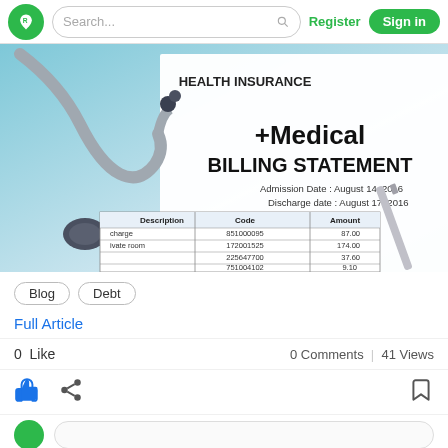Search...  Register  Sign in
[Figure (photo): Photo of a medical billing statement with a stethoscope and pen. The document shows '+Medical BILLING STATEMENT', Admission Date: August 14, 2016, Discharge date: August 17, 2016, with a table showing Description, Code, Amount columns with rows including 851000095/87.00, 172001525/174.00, 225647700/37.60, 751004102/9.10, and 18.12.]
Blog
Debt
Full Article
0  Like
0 Comments  |  41 Views